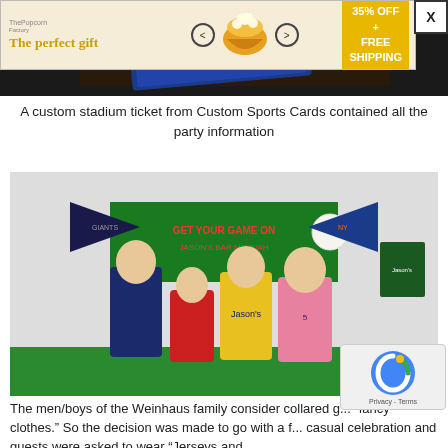[Figure (photo): Advertisement banner for 'The perfect gift' featuring a popcorn bowl, navigation arrows, and a promotional offer of 35% OFF + FREE SHIPPING with a close button (X)]
A custom stadium ticket from Custom Sports Cards contained all the party information
[Figure (photo): A family of four (two adults and two children) posing in sports jerseys in front of a sports-themed backdrop with pennants and banners reading 'GET YOUR GAME ON']
The men/boys of the Weinhaus family consider collared g... "fancy clothes." So the decision was made to go with a f... casual celebration and guests were asked to wear "Jerseys and